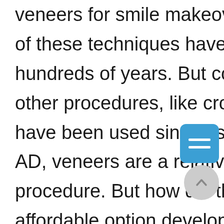veneers for smile makeovers, and many of these techniques have been used for hundreds of years. But compared to other procedures, like crowns, which have been used since as early as 200 AD, veneers are a relatively new procedure. But how did this relatively affordable option develop amongst
[Figure (other): Blue rounded square button with two horizontal white lines (hamburger/menu icon)]
[Figure (other): Light grey circular scroll-to-top button with an upward-pointing chevron arrow]